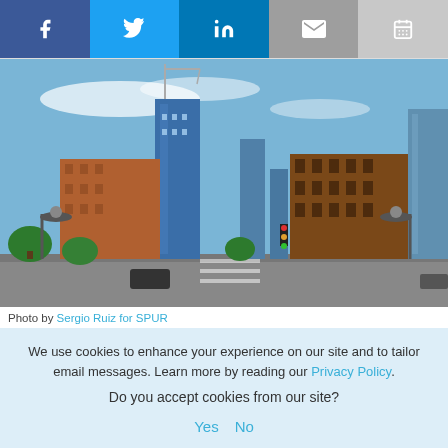[Figure (other): Social media sharing bar with Facebook, Twitter, LinkedIn, Email, and Calendar icons]
[Figure (photo): Urban street photo showing city buildings including construction cranes, brick mid-rise buildings, and modern skyscrapers under a blue sky. Photo by Sergio Ruiz for SPUR.]
Photo by Sergio Ruiz for SPUR
We use cookies to enhance your experience on our site and to tailor email messages. Learn more by reading our Privacy Policy.
Do you accept cookies from our site?
Yes   No